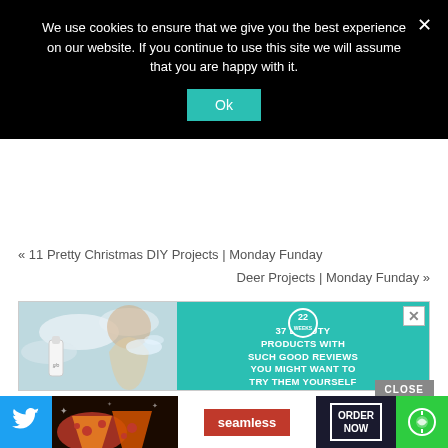We use cookies to ensure that we give you the best experience on our website. If you continue to use this site we will assume that you are happy with it.
Ok
« 11 Pretty Christmas DIY Projects | Monday Funday
Deer Projects | Monday Funday »
[Figure (screenshot): Advertisement banner with teal background showing beauty products. Left side shows product photo with model. Right side shows text: '22 WEEKS — 37 BEAUTY PRODUCTS WITH SUCH GOOD REVIEWS YOU MIGHT WANT TO TRY THEM YOURSELF']
[Figure (screenshot): Bottom navigation bar with Twitter icon (blue), food photo, Seamless red logo, ORDER NOW button in dark navy box with white border, and green circular icon. CLOSE button above.]